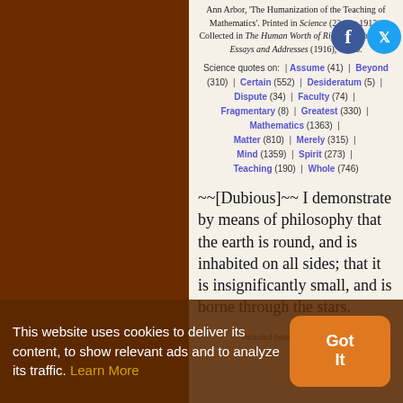Ann Arbor, 'The Humanization of the Teaching of Mathematics'. Printed in Science (23 Apr 1912). Collected in The Human Worth of Rigorous Thinking: Essays and Addresses (1916), 62-63.
Science quotes on: | Assume (41) | Beyond (310) | Certain (552) | Desideratum (5) | Dispute (34) | Faculty (74) | Fragmentary (8) | Greatest (330) | Mathematics (1363) | Matter (810) | Merely (315) | Mind (1359) | Spirit (273) | Teaching (190) | Whole (746)
~~[Dubious]~~ I demonstrate by means of philosophy that the earth is round, and is inhabited on all sides; that it is insignificantly small, and is borne through the stars.
— Johannes Kepler —
Included here to add a caution
This website uses cookies to deliver its content, to show relevant ads and to analyze its traffic. Learn More